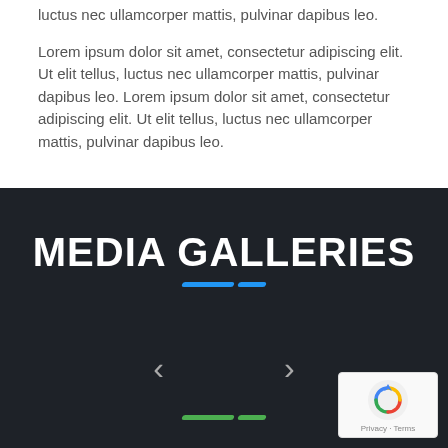luctus nec ullamcorper mattis, pulvinar dapibus leo.
Lorem ipsum dolor sit amet, consectetur adipiscing elit. Ut elit tellus, luctus nec ullamcorper mattis, pulvinar dapibus leo. Lorem ipsum dolor sit amet, consectetur adipiscing elit. Ut elit tellus, luctus nec ullamcorper mattis, pulvinar dapibus leo.
MEDIA GALLERIES
[Figure (other): Two blue decorative parallelogram bars used as a divider under the MEDIA GALLERIES heading]
[Figure (other): Left and right navigation chevron arrows for a media gallery carousel]
[Figure (other): Two green decorative parallelogram bars used as a carousel position indicator]
[Figure (other): reCAPTCHA privacy badge with recycling-arrow icon and Privacy - Terms text]